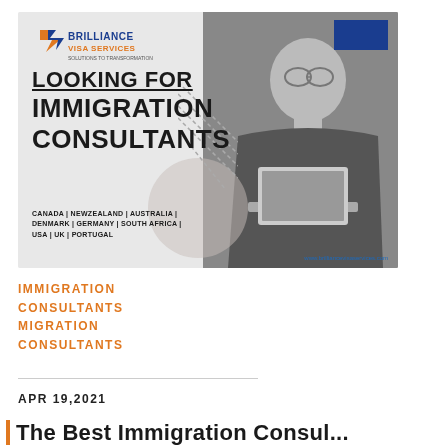[Figure (illustration): Advertisement banner for Brilliance Visa Services showing logo, bold text 'Looking For Immigration Consultants', country list (Canada, New Zealand, Australia, Denmark, Germany, South Africa, USA, UK, Portugal), a black and white photo of a young man working on a laptop, a blue rectangle decoration, diagonal dashed lines decoration, and a circular grey shape. Website www.brilliancevisaservices.com shown at bottom right.]
IMMIGRATION CONSULTANTS
MIGRATION CONSULTANTS
APR 19,2021
The Best Immigration Consul...